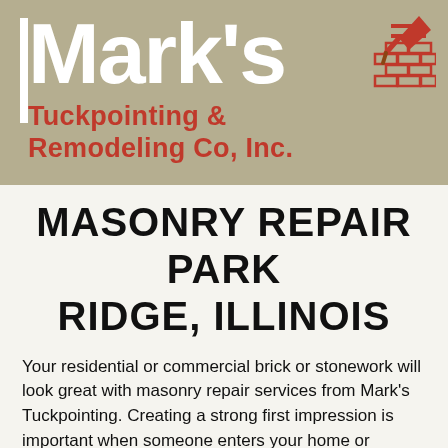[Figure (logo): Mark's Tuckpointing & Remodeling Co, Inc. company logo on a tan/khaki background. Features large white bold text 'Mark's' with a vertical white bar on the left, followed by red text 'Tuckpointing & Remodeling Co, Inc.' and a brick-and-trowel graphic icon in red on the upper right.]
MASONRY REPAIR PARK RIDGE, ILLINOIS
Your residential or commercial brick or stonework will look great with masonry repair services from Mark's Tuckpointing. Creating a strong first impression is important when someone enters your home or business for the first time. We have been offering masonry repair